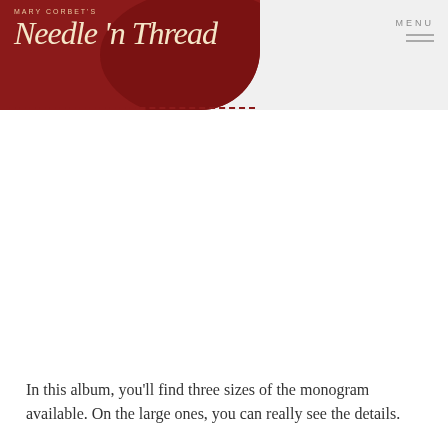Mary Corbet's Needle 'n Thread
In this album, you'll find three sizes of the monogram available. On the large ones, you can really see the details.